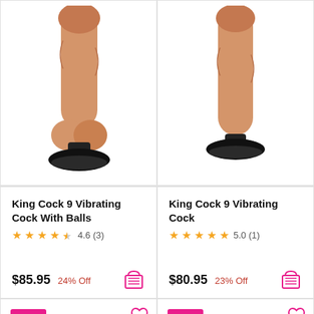[Figure (photo): Product photo of King Cock 9 Vibrating Cock With Balls dildo with suction cup base, skin-tone colored]
[Figure (photo): Product photo of King Cock 9 Vibrating Cock dildo with suction cup base, skin-tone colored]
King Cock 9 Vibrating Cock With Balls
4.6 (3)
$85.95 24% Off
King Cock 9 Vibrating Cock
5.0 (1)
$80.95 23% Off
[Figure (photo): Partial product photo with Sale badge]
[Figure (photo): Partial product photo with Sale badge]